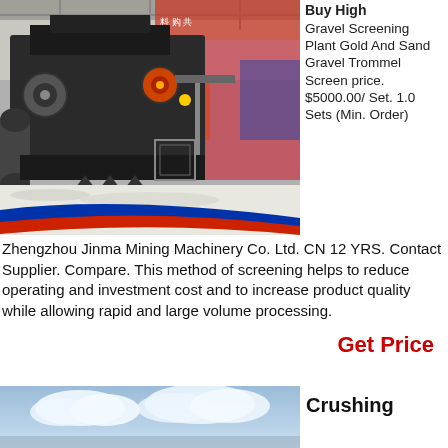[Figure (photo): Industrial gravel screening / trommel machine in a factory setting, with white gravel on floor and colorful stripes (blue, red) in foreground. Factory banners visible in background.]
Buy High Gravel Screening Plant Gold And Sand Gravel Trommel Screen price. $5000.00/ Set. 1.0 Sets (Min. Order)
Zhengzhou Jinma Mining Machinery Co. Ltd. CN 12 YRS. Contact Supplier. Compare. This method of screening helps to reduce operating and investment cost and to increase product quality while allowing rapid and large volume processing.
Get Price
[Figure (photo): Partial view of outdoor machinery against a blue sky with clouds.]
Crushing